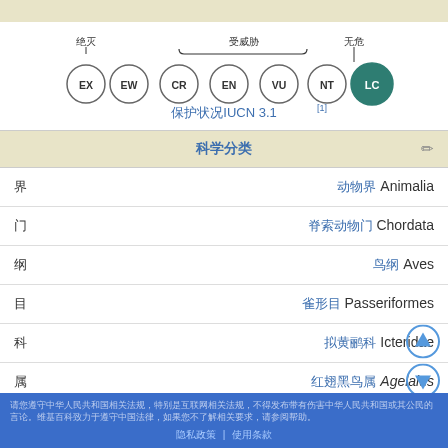[Figure (infographic): IUCN conservation status scale showing circles: EX, EW, CR, EN, VU, NT, with LC highlighted in dark teal. Labels 绝灭 (extinct), 受威胁 (threatened), 无危 (safe). Text: 保护状况IUCN 3.1[1]]
科学分类
|  |  |
| --- | --- |
| 界 | 动物界 Animalia |
| 门 | 脊索动物门 Chordata |
| 纲 | 鸟纲 Aves |
| 目 | 雀形目 Passeriformes |
| 科 | 拟黄鹂科 Icteridae |
| 属 | 红翅黑鸟属 Agelaius |
隐私政策 | 使用条款